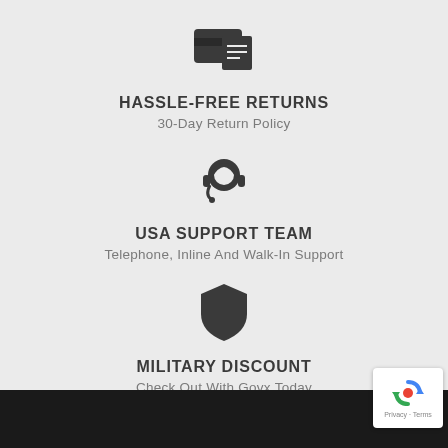[Figure (illustration): Payment/returns icon — a card and receipt symbol in dark grey]
HASSLE-FREE RETURNS
30-Day Return Policy
[Figure (illustration): Headset/phone support icon in dark grey]
USA SUPPORT TEAM
Telephone, Inline And Walk-In Support
[Figure (illustration): Shield/security icon in dark grey]
MILITARY DISCOUNT
Check Out With Govx Today